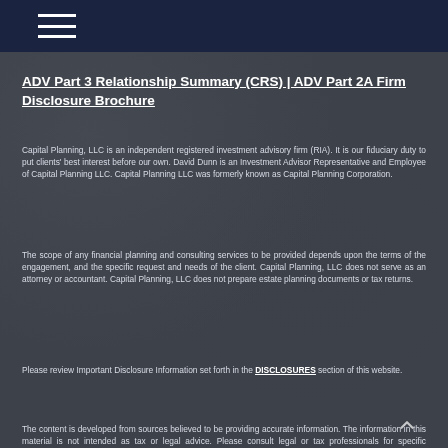Navigation menu (hamburger icon)
ADV Part 3 Relationship Summary (CRS) | ADV Part 2A Firm Disclosure Brochure
Capital Planning, LLC is an independent registered investment advisory firm (RIA). It is our fiduciary duty to put clients' best interest before our own. David Dunn is an Investment Advisor Representative and Employee of Capital Planning LLC. Capital Planning LLC was formerly known as Capital Planning Corporation.
The scope of any financial planning and consulting services to be provided depends upon the terms of the engagement, and the specific request and needs of the client. Capital Planning, LLC does not serve as an attorney or accountant. Capital Planning, LLC does not prepare estate planning documents or tax returns.
Please review Important Disclosure Information set forth in the DISCLOSURES section of this website.
The content is developed from sources believed to be providing accurate information. The information in this material is not intended as tax or legal advice. Please consult legal or tax professionals for specific information